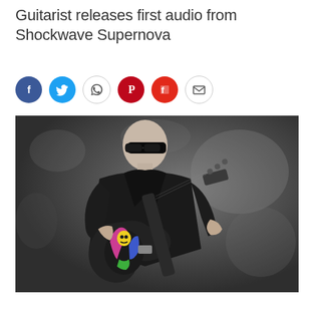Guitarist releases first audio from Shockwave Supernova
[Figure (other): Row of social media sharing icons: Facebook (blue circle), Twitter (light blue circle), WhatsApp (white circle with phone icon), Pinterest (red circle), Flipboard (red circle), Email (white circle with envelope icon)]
[Figure (photo): A bald man wearing black sunglasses and a black leather jacket, holding a colorful electric guitar with skull and figure artwork on the body, posed against a mottled grey background]